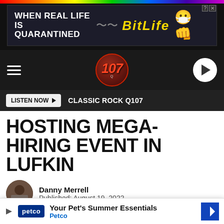[Figure (screenshot): Advertisement banner for BitLife app: 'WHEN REAL LIFE IS QUARANTINED' with rainbow stripe and BitLife logo with emoji characters]
Classic Rock Q107 navigation bar with hamburger menu, Q107 logo, and play button
LISTEN NOW ▶  CLASSIC ROCK Q107
HOSTING MEGA-HIRING EVENT IN LUFKIN
Danny Merrell
Published: August 19, 2022
[Figure (photo): Photo of a man with glasses looking up outdoors, with a blue building/guard tower in the background]
[Figure (screenshot): Petco advertisement: 'Your Pet's Summer Essentials - Petco' with Petco logo and navigation arrow]